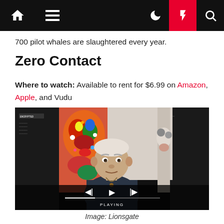Navigation bar with home, menu, moon, lightning, and search icons
700 pilot whales are slaughtered every year.
Zero Contact
Where to watch: Available to rent for $6.99 on Amazon, Apple, and Vudu
[Figure (screenshot): Video player screenshot showing an elderly man (Anthony Hopkins) sitting in front of colorful abstract art paintings, with playback controls visible at the bottom showing skip-back, play, and skip-forward buttons along with a progress bar labeled PLAYING]
Image: Lionsgate